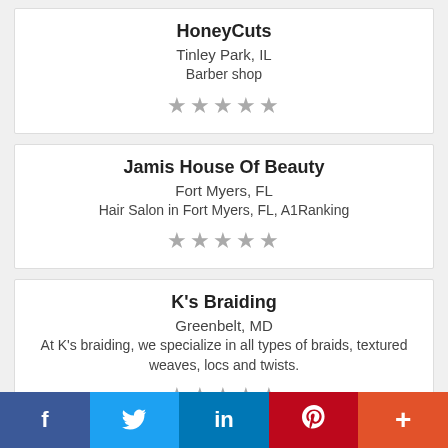HoneyCuts
Tinley Park, IL
Barber shop
★★★★★
Jamis House Of Beauty
Fort Myers, FL
Hair Salon in Fort Myers, FL, A1Ranking
★★★★★
K's Braiding
Greenbelt, MD
At K's braiding, we specialize in all types of braids, textured weaves, locs and twists.
★★★★★
f  [Twitter]  in  P  +